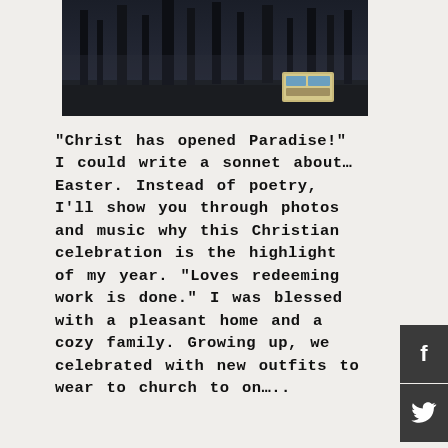[Figure (photo): Dark moody outdoor photograph showing trees or forest in dim light, with a small rectangular label/sign visible in the lower right of the image.]
“Christ has opened Paradise!” I could write a sonnet about…Easter. Instead of poetry, I’ll show you through photos and music why this Christian celebration is the highlight of my year. “Loves redeeming work is done.” I was blessed with a pleasant home and a cozy family. Growing up, we celebrated with new outfits to wear to church to on…..